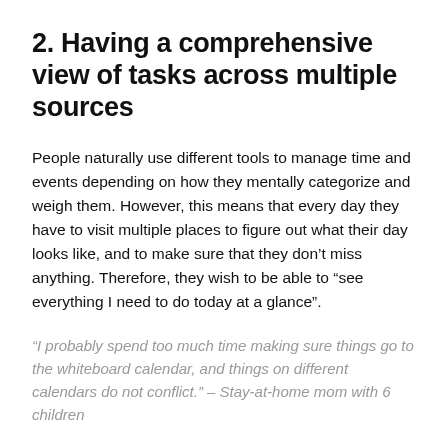2. Having a comprehensive view of tasks across multiple sources
People naturally use different tools to manage time and events depending on how they mentally categorize and weigh them. However, this means that every day they have to visit multiple places to figure out what their day looks like, and to make sure that they don't miss anything. Therefore, they wish to be able to “see everything I need to do today at a glance”.
“I probably spend too much time making sure things go to the whiteboard calendar, and things on different calendars do not conflict.” – Stay-at-home mom with 6 children